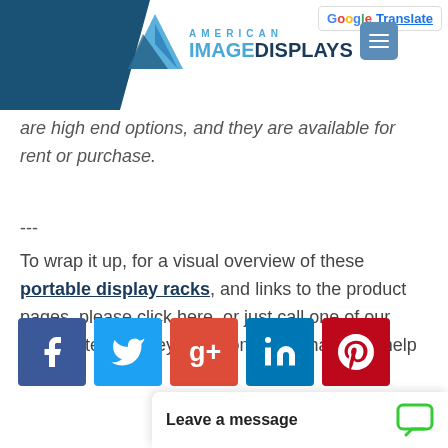[Figure (logo): American Image Displays logo with blue triangle and text, on dark blue header bar with Google Translate button]
are high end options, and they are available for rent or purchase.
---
To wrap it up, for a visual overview of these portable display racks, and links to the product pages, please click here, or just call one of our support team - they'd welcome the chance to help out.
[Figure (infographic): Row of five social media icons: Facebook (blue), Twitter (light blue), Google+ (red), LinkedIn (blue), Pinterest (dark red)]
Leave a message